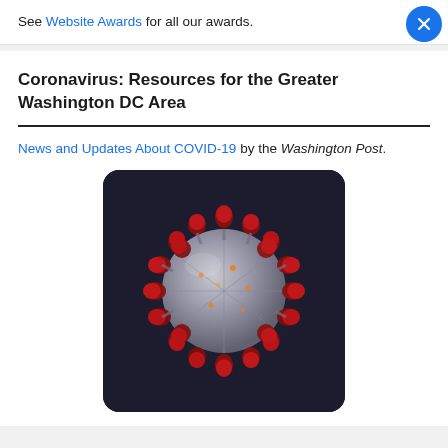See Website Awards for all our awards.
Coronavirus: Resources for the Greater Washington DC Area
News and Updates About COVID-19 by the Washington Post.
[Figure (photo): 3D illustration of a coronavirus particle with red spike proteins on a dark background]